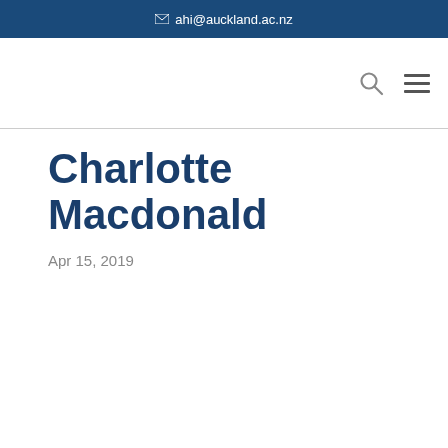✉ ahi@auckland.ac.nz
Charlotte Macdonald
Apr 15, 2019